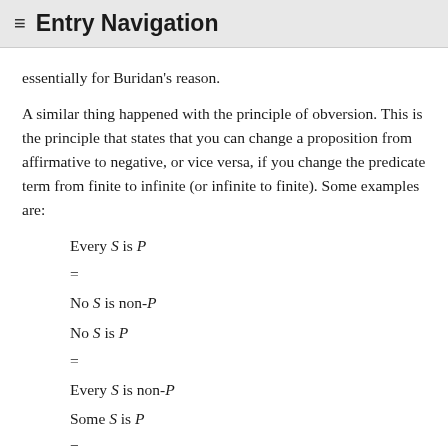≡ Entry Navigation
essentially for Buridan's reason.
A similar thing happened with the principle of obversion. This is the principle that states that you can change a proposition from affirmative to negative, or vice versa, if you change the predicate term from finite to infinite (or infinite to finite). Some examples are: